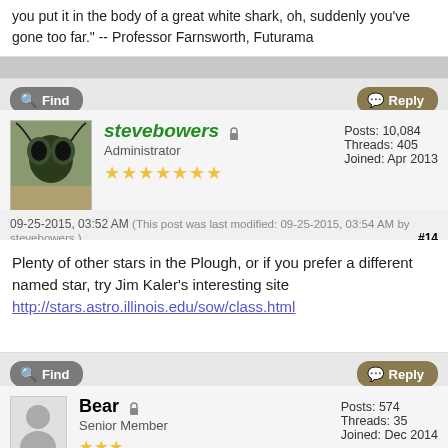you put it in the body of a great white shark, oh, suddenly you've gone too far." -- Professor Farnsworth, Futurama
Find | Reply
[Figure (photo): Avatar of stevebowers: close-up photo of an insect head]
stevebowers Administrator ★★★★★★★ Posts: 10,084 Threads: 405 Joined: Apr 2013
09-25-2015, 03:52 AM (This post was last modified: 09-25-2015, 03:54 AM by stevebowers.) #14
Plenty of other stars in the Plough, or if you prefer a different named star, try Jim Kaler's interesting site http://stars.astro.illinois.edu/sow/class.html
Find | Reply
[Figure (photo): Default avatar silhouette for user Bear]
Bear Senior Member ★★★ Posts: 574 Threads: 35 Joined: Dec 2014